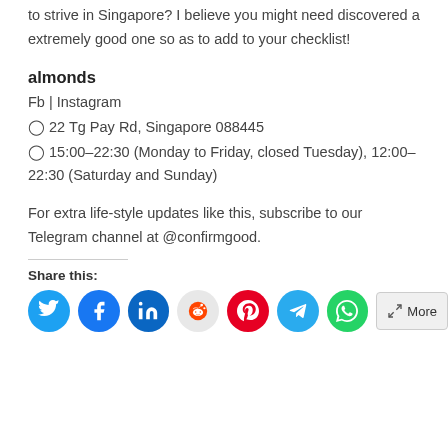to strive in Singapore? I believe you might need discovered a extremely good one so as to add to your checklist!
almonds
Fb | Instagram
🗺 22 Tg Pay Rd, Singapore 088445
🕐 15:00–22:30 (Monday to Friday, closed Tuesday), 12:00–22:30 (Saturday and Sunday)
For extra life-style updates like this, subscribe to our Telegram channel at @confirmgood.
Share this:
[Figure (other): Social share buttons: Twitter, Facebook, LinkedIn, Reddit, Pinterest, Telegram, WhatsApp, More]